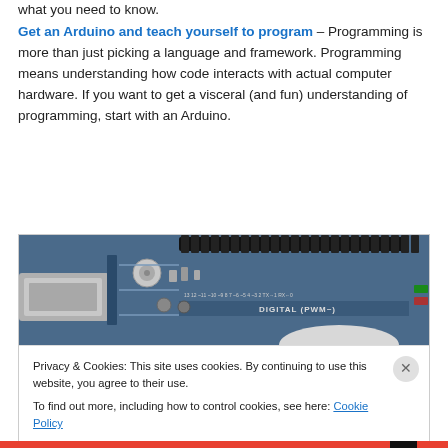what you need to know.
Get an Arduino and teach yourself to program – Programming is more than just picking a language and framework. Programming means understanding how code interacts with actual computer hardware. If you want to get a visceral (and fun) understanding of programming, start with an Arduino.
[Figure (photo): Close-up photo of an Arduino board showing digital pins labeled DIGITAL (PWM~) and circuit components on a blue PCB, with a USB connector visible on the left.]
Privacy & Cookies: This site uses cookies. By continuing to use this website, you agree to their use. To find out more, including how to control cookies, see here: Cookie Policy
Close and accept